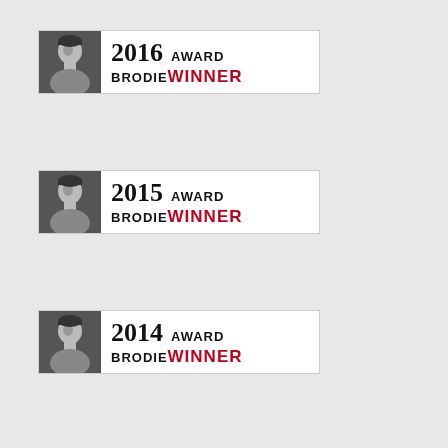[Figure (logo): 2016 Brodie Award Winner badge with grayscale portrait photo on left and text '2016 AWARD BRODIE WINNER' on white background]
[Figure (logo): 2015 Brodie Award Winner badge with grayscale portrait photo on left and text '2015 AWARD BRODIE WINNER' on white background]
[Figure (logo): 2014 Brodie Award Winner badge with grayscale portrait photo on left and text '2014 AWARD BRODIE WINNER' on white background]
[Figure (logo): 2013 Brodie Award Winner badge with grayscale portrait photo on left and text '2013 AWARD BRODIE WINNER' on white background, year in blue]
[Figure (logo): 2012 Brodie Award Winner badge with grayscale portrait photo on left and text '2012 AWARD BRODIE WINNER' on white background, year in blue, partially cut off at bottom]